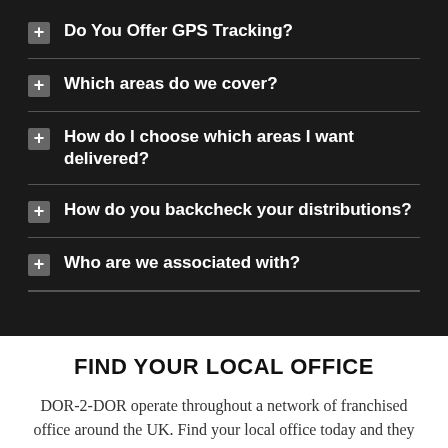Do You Offer GPS Tracking?
Which areas do we cover?
How do I choose which areas I want delivered?
How do you backcheck your distributions?
Who are we associated with?
FIND YOUR LOCAL OFFICE
DOR-2-DOR operate throughout a network of franchised office around the UK. Find your local office today and they